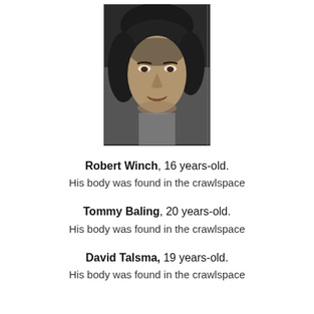[Figure (photo): Black and white portrait photograph of Robert Winch, a young person with dark hair, facing slightly to the right.]
Robert Winch, 16 years-old.
His body was found in the crawlspace
Tommy Baling, 20 years-old.
His body was found in the crawlspace
David Talsma, 19 years-old.
His body was found in the crawlspace